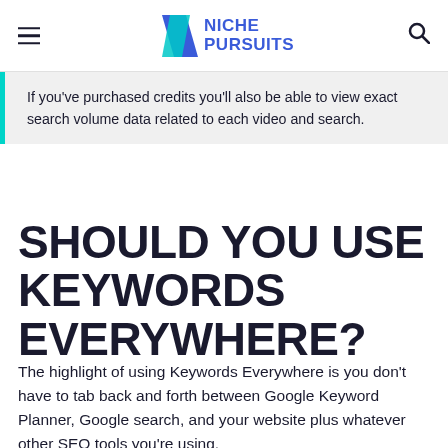NICHE PURSUITS
If you've purchased credits you'll also be able to view exact search volume data related to each video and search.
SHOULD YOU USE KEYWORDS EVERYWHERE?
The highlight of using Keywords Everywhere is you don't have to tab back and forth between Google Keyword Planner, Google search, and your website plus whatever other SEO tools you're using.